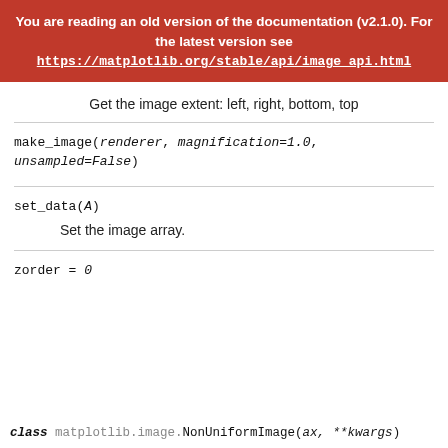You are reading an old version of the documentation (v2.1.0). For the latest version see https://matplotlib.org/stable/api/image_api.html
Get the image extent: left, right, bottom, top
make_image(renderer, magnification=1.0, unsampled=False)
set_data(A)
Set the image array.
zorder = 0
class matplotlib.image.NonUniformImage(ax, **kwargs)